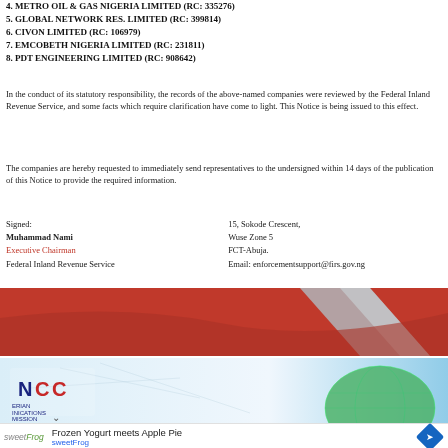4. METRO OIL & GAS NIGERIA LIMITED (RC: 335276)
5. GLOBAL NETWORK RES. LIMITED (RC: 399814)
6. CIVON LIMITED (RC: 106979)
7. EMCOBETH NIGERIA LIMITED (RC: 231811)
8. PDT ENGINEERING LIMITED (RC: 908642)
In the conduct of its statutory responsibility, the records of the above-named companies were reviewed by the Federal Inland Revenue Service, and some facts which require clarification have come to light. This Notice is being issued to this effect.
The companies are hereby requested to immediately send representatives to the undersigned within 14 days of the publication of this Notice to provide the required information.
Signed:
Muhammad Nami
Executive Chairman
Federal Inland Revenue Service

15, Sokode Crescent,
Wuse Zone 5
FCT-Abuja.
Email: enforcementsupport@firs.gov.ng
[Figure (illustration): Red decorative banner with silver/grey stripe elements on a red background]
[Figure (illustration): NCC Nigerian Communications Commission banner with globe graphic and blue background showing network patterns]
[Figure (illustration): Advertisement banner: sweetFrog - Frozen Yogurt meets Apple Pie]